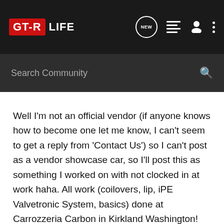GT-R LIFE
Search Community
Well I'm not an official vendor (if anyone knows how to become one let me know, I can't seem to get a reply from 'Contact Us') so I can't post as a vendor showcase car, so I'll post this as something I worked on with not clocked in at work haha. All work (coilovers, lip, iPE Valvetronic System, basics) done at Carrozzeria Carbon in Kirkland Washington! Enjoy